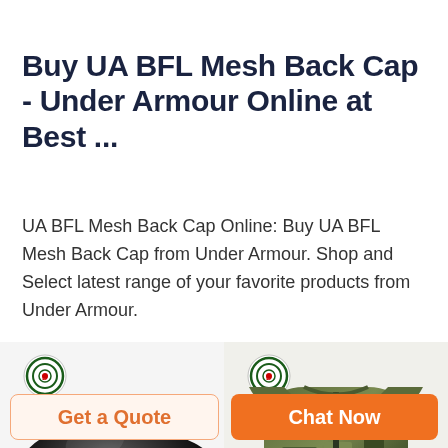Buy UA BFL Mesh Back Cap - Under Armour Online at Best ...
UA BFL Mesh Back Cap Online: Buy UA BFL Mesh Back Cap from Under Armour. Shop and Select latest range of your favorite products from Under Armour.
[Figure (photo): Black military helmet with DEEKON logo in upper left corner]
[Figure (photo): Camouflage tactical vest/plate carrier with DEEKON logo in upper left corner]